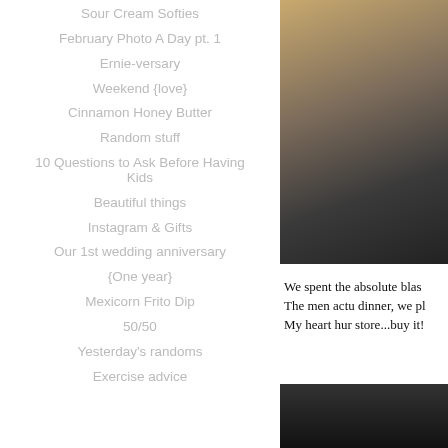Sour Cream Softies
February Photo A Day pt. 1
Ernie-versary
Weekend {love}
Cinnamon Honey Butter
Random stuff
10 Questions to Ask Before Having Kids
Beautiful things
Instagram & Gifts
Our 1st wedding anniversary
{One year}
Mexicorn Frito Dip
50/50
Yesterday's randoms
Exercise advice
[Figure (photo): Photo of a person sitting, partially cropped on the right side of the page, top portion]
We spent the absolute blas The men actu dinner, we pl My heart hur store...buy it!
[Figure (photo): Dark photo, partially visible at bottom right of page]